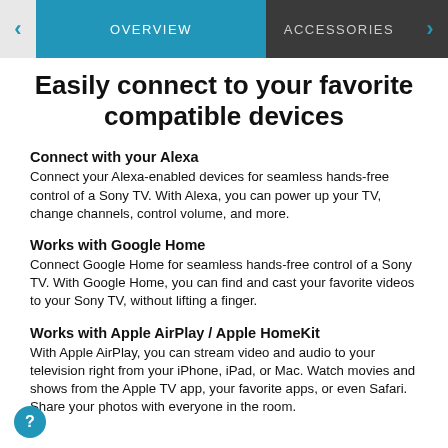OVERVIEW | ACCESSORIES
Easily connect to your favorite compatible devices
Connect with your Alexa
Connect your Alexa-enabled devices for seamless hands-free control of a Sony TV. With Alexa, you can power up your TV, change channels, control volume, and more.
Works with Google Home
Connect Google Home for seamless hands-free control of a Sony TV. With Google Home, you can find and cast your favorite videos to your Sony TV, without lifting a finger.
Works with Apple AirPlay / Apple HomeKit
With Apple AirPlay, you can stream video and audio to your television right from your iPhone, iPad, or Mac. Watch movies and shows from the Apple TV app, your favorite apps, or even Safari. Share your photos with everyone in the room.